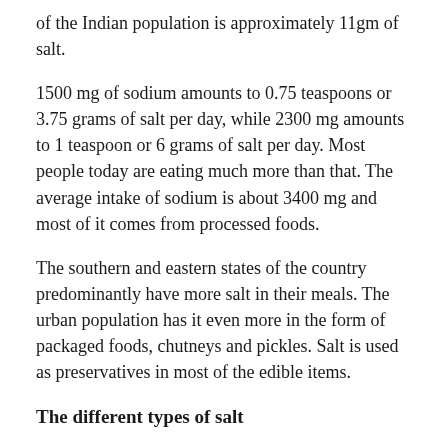of the Indian population is approximately 11gm of salt.
1500 mg of sodium amounts to 0.75 teaspoons or 3.75 grams of salt per day, while 2300 mg amounts to 1 teaspoon or 6 grams of salt per day. Most people today are eating much more than that. The average intake of sodium is about 3400 mg and most of it comes from processed foods.
The southern and eastern states of the country predominantly have more salt in their meals. The urban population has it even more in the form of packaged foods, chutneys and pickles. Salt is used as preservatives in most of the edible items.
The different types of salt